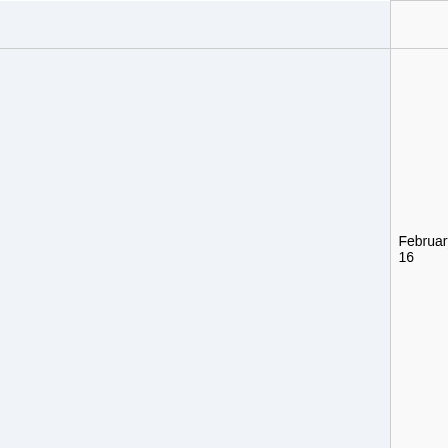|  | Date | Time | Event | Description |
| --- | --- | --- | --- | --- |
|  |  |  | Here |  |
|  | February 16 | 8am EST / 1pm UTC | Africa Meetup | The Africa Monthly Meetup bring together folks the Africa region share conne seek and m stress celeb each In add is a ti us to ways |